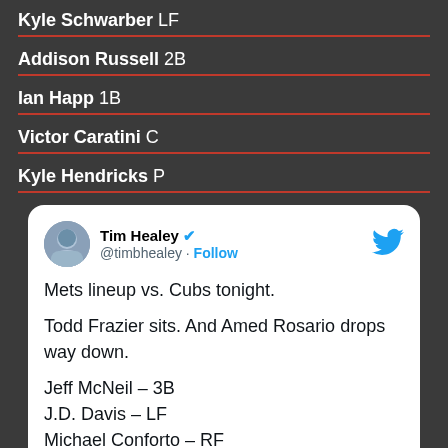Kyle Schwarber LF
Addison Russell 2B
Ian Happ 1B
Victor Caratini C
Kyle Hendricks P
[Figure (screenshot): Tweet by Tim Healey (@timbhealey) with blue verified checkmark and Follow button. Tweet text: 'Mets lineup vs. Cubs tonight. Todd Frazier sits. And Amed Rosario drops way down. Jeff McNeil – 3B, J.D. Davis – LF, Michael Conforto – RE']